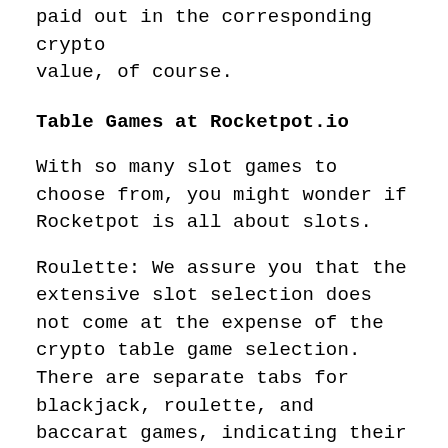paid out in the corresponding crypto value, of course.
Table Games at Rocketpot.io
With so many slot games to choose from, you might wonder if Rocketpot is all about slots.
Roulette: We assure you that the extensive slot selection does not come at the expense of the crypto table game selection. There are separate tabs for blackjack, roulette, and baccarat games, indicating their importance in the overall offering.